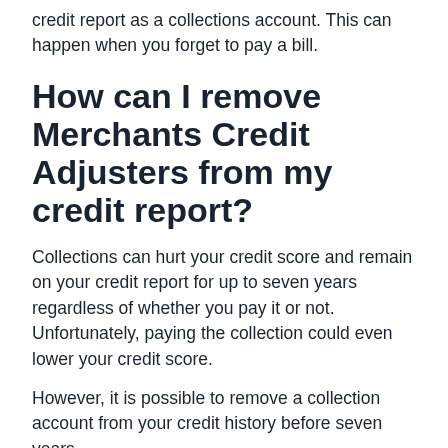credit report as a collections account. This can happen when you forget to pay a bill.
How can I remove Merchants Credit Adjusters from my credit report?
Collections can hurt your credit score and remain on your credit report for up to seven years regardless of whether you pay it or not. Unfortunately, paying the collection could even lower your credit score.
However, it is possible to remove a collection account from your credit history before seven years.
(Debt collectors prefer that we didn't tell you this, but